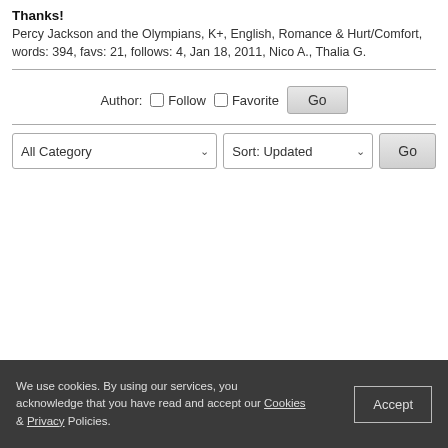Thanks!
Percy Jackson and the Olympians, K+, English, Romance & Hurt/Comfort, words: 394, favs: 21, follows: 4, Jan 18, 2011, Nico A., Thalia G.
Author: Follow Favorite Go
All Category Sort: Updated Go
We use cookies. By using our services, you acknowledge that you have read and accept our Cookies & Privacy Policies. Accept